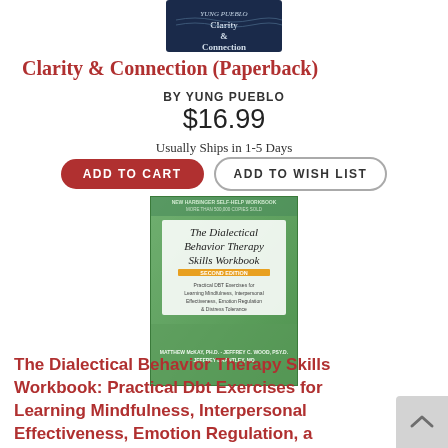[Figure (illustration): Top portion of a dark blue book cover for 'Clarity & Connection' by Yung Pueblo]
Clarity & Connection (Paperback)
BY YUNG PUEBLO
$16.99
Usually Ships in 1-5 Days
ADD TO CART
ADD TO WISH LIST
[Figure (illustration): Book cover for 'The Dialectical Behavior Therapy Skills Workbook: Practical DBT Exercises for Learning Mindfulness, Interpersonal Effectiveness, Emotion Regulation & Distress Tolerance' with a green textured background and orange/white title text. Authors: Matthew McKay PhD, Jeffrey C. Wood PsyD, Jeffrey Brantley MD.]
The Dialectical Behavior Therapy Skills Workbook: Practical Dbt Exercises for Learning Mindfulness, Interpersonal Effectiveness, Emotion Regulation, a